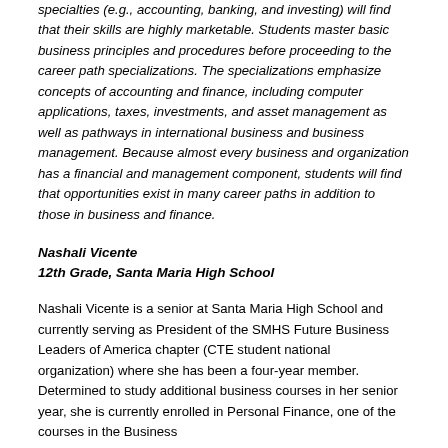specialties (e.g., accounting, banking, and investing) will find that their skills are highly marketable. Students master basic business principles and procedures before proceeding to the career path specializations. The specializations emphasize concepts of accounting and finance, including computer applications, taxes, investments, and asset management as well as pathways in international business and business management. Because almost every business and organization has a financial and management component, students will find that opportunities exist in many career paths in addition to those in business and finance.
Nashali Vicente
12th Grade, Santa Maria High School
Nashali Vicente is a senior at Santa Maria High School and currently serving as President of the SMHS Future Business Leaders of America chapter (CTE student national organization) where she has been a four-year member. Determined to study additional business courses in her senior year, she is currently enrolled in Personal Finance, one of the courses in the Business